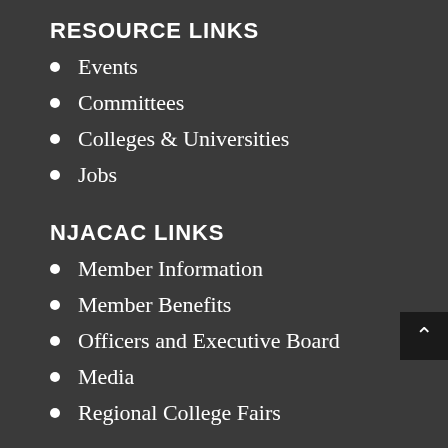RESOURCE LINKS
Events
Committees
Colleges & Universities
Jobs
NJACAC LINKS
Member Information
Member Benefits
Officers and Executive Board
Media
Regional College Fairs